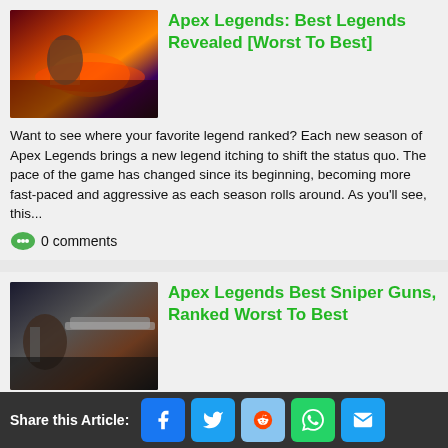[Figure (photo): Apex Legends character near molten lava environment]
Apex Legends: Best Legends Revealed [Worst To Best]
Want to see where your favorite legend ranked? Each new season of Apex Legends brings a new legend itching to shift the status quo. The pace of the game has changed since its beginning, becoming more fast-paced and aggressive as each season rolls around. As you'll see, this...
0 comments
[Figure (photo): Apex Legends sniper character aiming rifle]
Apex Legends Best Sniper Guns, Ranked Worst To Best
Apex Legends Best Sniper Guns, Ranked Worst To Best There's nothing more satisfying than Knocking an opponent from several hundred meters away. Just ask anyone who uses sniper rifles in Apex Legends. Although experienced players make it look easy, it takes patience and skill to use these guns...
Share this Article: